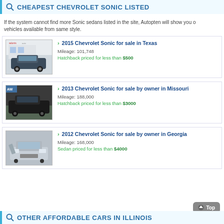CHEAPEST CHEVROLET SONIC LISTED
If the system cannot find more Sonic sedans listed in the site, Autopten will show you other vehicles available from same style.
[Figure (photo): 2015 Chevrolet Sonic hatchback parked outside Adonis Auto dealership]
> 2015 Chevrolet Sonic for sale in Texas
Mileage: 101,748
Hatchback priced for less than $500
[Figure (photo): 2013 Chevrolet Sonic black hatchback parked on street]
> 2013 Chevrolet Sonic for sale by owner in Missouri
Mileage: 188,000
Hatchback priced for less than $3000
[Figure (photo): 2012 Chevrolet Sonic silver sedan front view]
> 2012 Chevrolet Sonic for sale by owner in Georgia
Mileage: 168,000
Sedans priced for less than $4000
OTHER AFFORDABLE CARS IN ILLINOIS